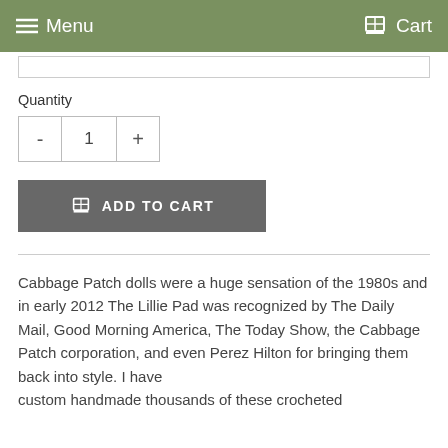Menu   Cart
Quantity
- 1 +
ADD TO CART
Cabbage Patch dolls were a huge sensation of the 1980s and in early 2012 The Lillie Pad was recognized by The Daily Mail, Good Morning America, The Today Show, the Cabbage Patch corporation, and even Perez Hilton for bringing them back into style. I have custom handmade thousands of these crocheted